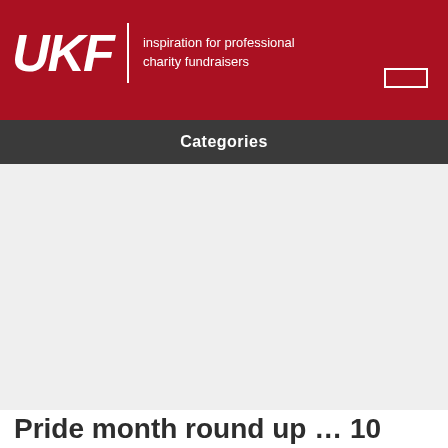UKF | inspiration for professional charity fundraisers
Categories
[Figure (other): Large grey advertisement/content placeholder area]
Pride month round up … 10